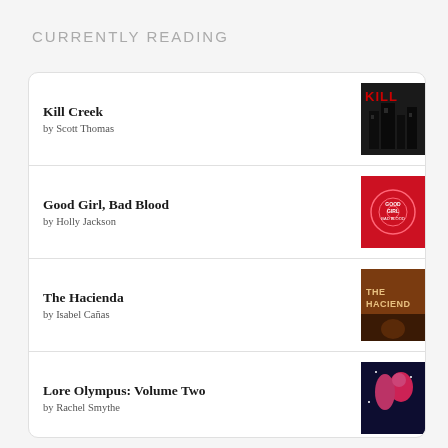CURRENTLY READING
Kill Creek by Scott Thomas
Good Girl, Bad Blood by Holly Jackson
The Hacienda by Isabel Cañas
Lore Olympus: Volume Two by Rachel Smythe
Lore Olympus, Season 1 by NOT A BOOK